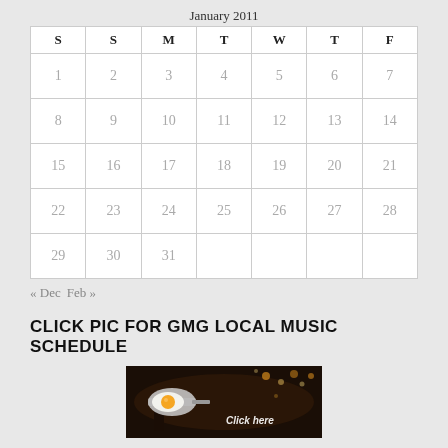January 2011
| S | S | M | T | W | T | F |
| --- | --- | --- | --- | --- | --- | --- |
| 1 | 2 | 3 | 4 | 5 | 6 | 7 |
| 8 | 9 | 10 | 11 | 12 | 13 | 14 |
| 15 | 16 | 17 | 18 | 19 | 20 | 21 |
| 22 | 23 | 24 | 25 | 26 | 27 | 28 |
| 29 | 30 | 31 |  |  |  |  |
« Dec  Feb »
CLICK PIC FOR GMG LOCAL MUSIC SCHEDULE
[Figure (photo): A person holding a frying pan with eggs cooking, with bokeh lights in the background and 'Click here' text overlay]